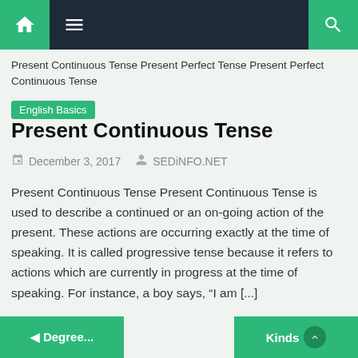[Figure (screenshot): Navigation bar with home icon, hamburger menu, and search icon on dark background with green accents]
Present Continuous Tense Present Perfect Tense Present Perfect Continuous Tense
English Basics
Present Continuous Tense
December 3, 2017   SEDiNFO.NET
Present Continuous Tense Present Continuous Tense is used to describe a continued or an on-going action of the present. These actions are occurring exactly at the time of speaking. It is called progressive tense because it refers to actions which are currently in progress at the time of speaking. For instance, a boy says, “I am [...]
◄ Degree...   Kinds ▲